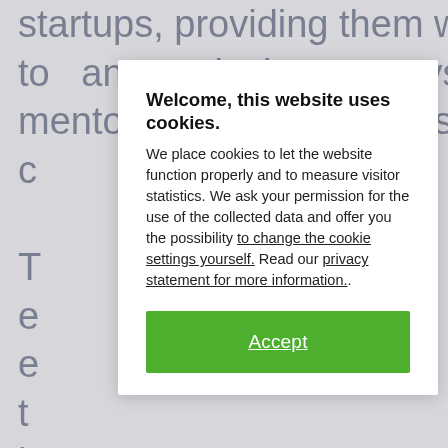startups, providing them with access to an exclusive ecosystem of mentors, experts, investors and c… T… e… e… t… b… U… M… U… h…
Welcome, this website uses cookies.
We place cookies to let the website function properly and to measure visitor statistics. We ask your permission for the use of the collected data and offer you the possibility to change the cookie settings yourself. Read our privacy statement for more information..
Accept